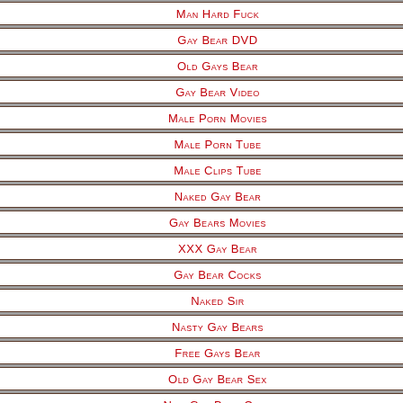1 Man Hard Fuck
2 Gay Bear DVD
3 Old Gays Bear
4 Gay Bear Video
5 Male Porn Movies
6 Male Porn Tube
7 Male Clips Tube
8 Naked Gay Bear
9 Gay Bears Movies
10 XXX Gay Bear
11 Gay Bear Cocks
12 Naked Sir
13 Nasty Gay Bears
14 Free Gays Bear
15 Old Gay Bear Sex
16 New Gay Bear Clips